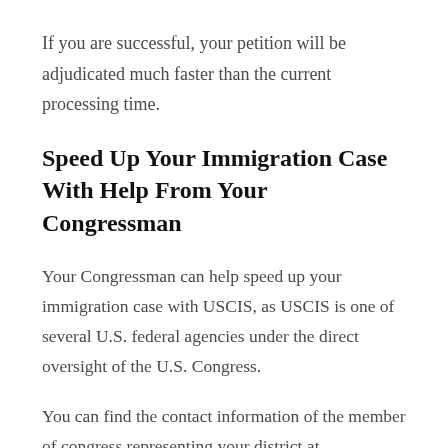If you are successful, your petition will be adjudicated much faster than the current processing time.
Speed Up Your Immigration Case With Help From Your Congressman
Your Congressman can help speed up your immigration case with USCIS, as USCIS is one of several U.S. federal agencies under the direct oversight of the U.S. Congress.
You can find the contact information of the member of congress representing your district at https://www.house.gov/representatives/find-your-representative